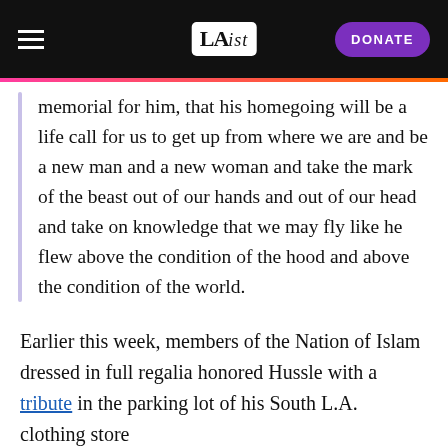LAist | DONATE
memorial for him, that his homegoing will be a life call for us to get up from where we are and be a new man and a new woman and take the mark of the beast out of our hands and out of our head and take on knowledge that we may fly like he flew above the condition of the hood and above the condition of the world.
Earlier this week, members of the Nation of Islam dressed in full regalia honored Hussle with a tribute in the parking lot of his South L.A. clothing store